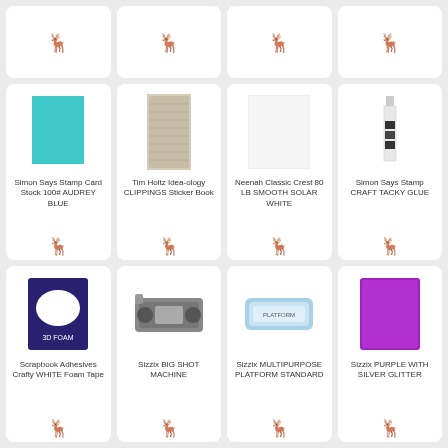[Figure (other): Product grid with 12 craft/scrapbooking product cards arranged in a 4-column layout. Row 1 (partial): 4 cards with deer logo icons only. Row 2: Simon Says Stamp Card Stock 100# AUDREY BLUE (teal card), Tim Holtz Idea-ology CLIPPINGS Sticker Book, Neenah Classic Crest 80 LB SMOOTH SOLAR WHITE (white card), Simon Says Stamp CRAFT TACKY GLUE (glue bottle). Row 3: Scrapbook Adhesives Crafty WHITE Foam Tape, Sizzix BIG SHOT MACHINE, Sizzix MULTIPURPOSE PLATFORM STANDARD, Sizzix PURPLE WITH SILVER GLITTER.]